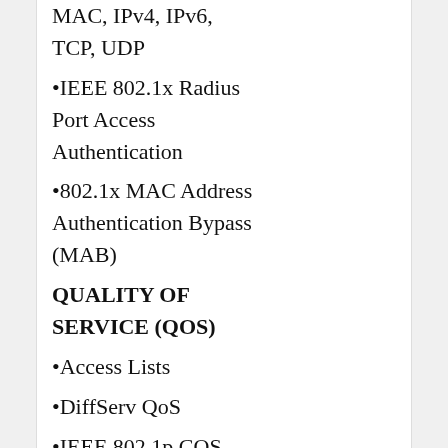MAC, IPv4, IPv6, TCP, UDP
•IEEE 802.1x Radius Port Access Authentication
•802.1x MAC Address Authentication Bypass (MAB)
QUALITY OF SERVICE (QOS)
•Access Lists
•DiffServ QoS
•IEEE 802.1p COS